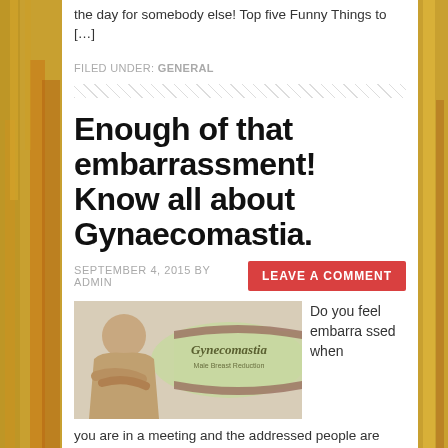the day for somebody else! Top five Funny Things to […]
FILED UNDER: GENERAL
[Figure (other): Diagonal hatching divider line]
Enough of that embarrassment! Know all about Gynaecomastia.
SEPTEMBER 4, 2015 BY ADMIN
LEAVE A COMMENT
[Figure (photo): Image of a man crossing his arms over his chest next to a banner reading Gynecomastia Male Breast Reduction]
Do you feel embarrassed when you are in a meeting and the addressed people are looking